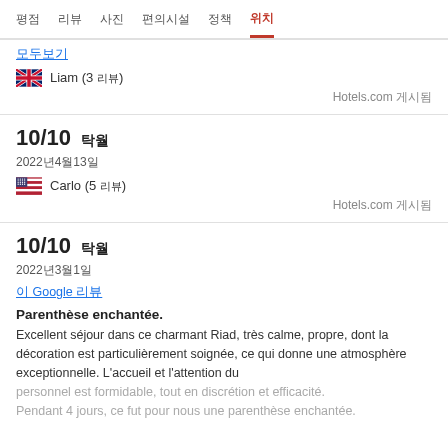평점  리뷰  사진  편의시설  정책  위치
모두보기
Liam (3 리뷰)  Hotels.com 게시됨
10/10 탁월  2022년4월13일  Carlo (5 리뷰)  Hotels.com 게시됨
10/10 탁월  2022년3월1일
이 Google 리뷰
Parenthèse enchantée.
Excellent séjour dans ce charmant Riad, très calme, propre, dont la décoration est particulièrement soignée, ce qui donne une atmosphère exceptionnelle. L'accueil et l'attention du personnel est formidable, tout en discrétion et efficacité. Pendant 4 jours, ce fut pour nous une parenthèse enchantée.